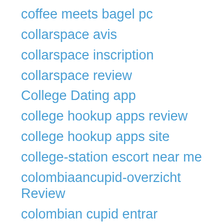coffee meets bagel pc
collarspace avis
collarspace inscription
collarspace review
College Dating app
college hookup apps review
college hookup apps site
college-station escort near me
colombiaancupid-overzicht Review
colombian cupid entrar
colombian cupid gratis
colombian cupid kosten
colombiancupid entrar
colombiancupid funziona
colombiancupid pc